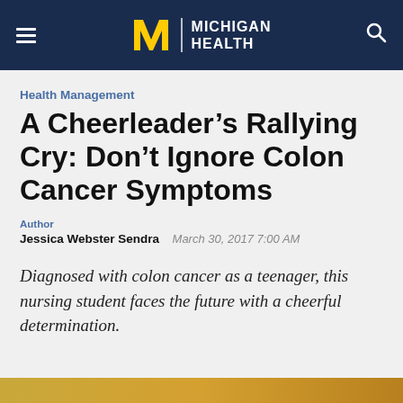Michigan Health
Health Management
A Cheerleader’s Rallying Cry: Don’t Ignore Colon Cancer Symptoms
Author
Jessica Webster Sendra  March 30, 2017 7:00 AM
Diagnosed with colon cancer as a teenager, this nursing student faces the future with a cheerful determination.